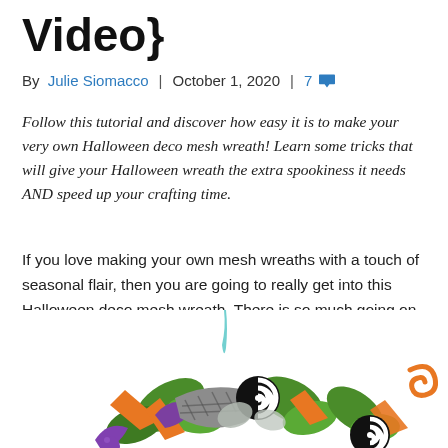Video}
By Julie Siomacco | October 1, 2020 | 7 comments
Follow this tutorial and discover how easy it is to make your very own Halloween deco mesh wreath! Learn some tricks that will give your Halloween wreath the extra spookiness it needs AND speed up your crafting time.
If you love making your own mesh wreaths with a touch of seasonal flair, then you are going to really get into this Halloween deco mesh wreath. There is so much going on with it – and there are plenty of ways you can customize it too!
[Figure (photo): Halloween deco mesh wreath with purple, green, orange, and black and white swirl decorations]